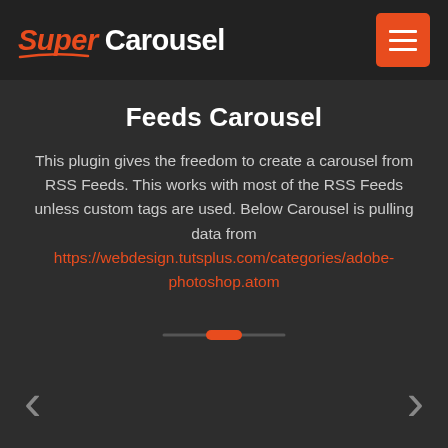Super Carousel
Feeds Carousel
This plugin gives the freedom to create a carousel from RSS Feeds. This works with most of the RSS Feeds unless custom tags are used. Below Carousel is pulling data from https://webdesign.tutsplus.com/categories/adobe-photoshop.atom